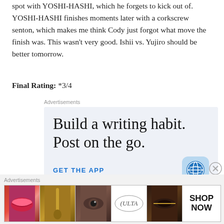spot with YOSHI-HASHI, which he forgets to kick out of. YOSHI-HASHI finishes moments later with a corkscrew senton, which makes me think Cody just forgot what move the finish was. This wasn't very good. Ishii vs. Yujiro should be better tomorrow.
Final Rating: *3/4
[Figure (infographic): WordPress advertisement: 'Build a writing habit. Post on the go.' with GET THE APP button and WordPress logo]
[Figure (infographic): ULTA beauty advertisement banner with makeup imagery and SHOP NOW call to action]